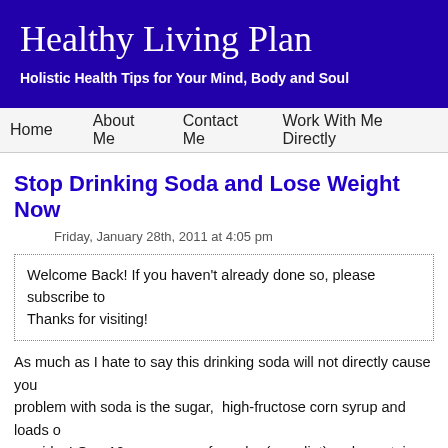Healthy Living Plan
Holistic Health Tips for Your Mind, Body and Soul
Home   About Me   Contact Me   Work With Me Directly
Stop Drinking Soda and Lose Weight Now
Friday, January 28th, 2011 at 4:05 pm
Welcome Back! If you haven't already done so, please subscribe to Thanks for visiting!
As much as I hate to say this drinking soda will not directly cause you problem with soda is the sugar, high-fructose corn syrup and loads of provides! One 12-ounce can of regular (non-diet) soda contains about one 20-ounce bottle, contains about 250 calories.
With soft drinks it is easy to consume many extra calories in addition